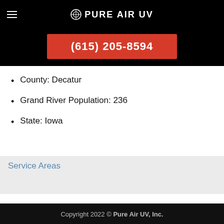PURE AIR UV
(615) 205-8594
County: Decatur
Grand River Population: 236
State: Iowa
Service Areas
Copyright 2022 © Pure Air UV, Inc.